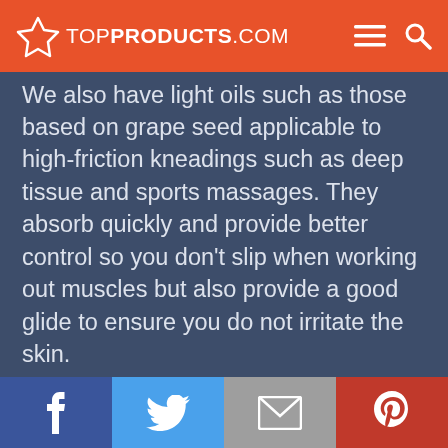TOP PRODUCTS .COM
We also have light oils such as those based on grape seed applicable to high-friction kneadings such as deep tissue and sports massages. They absorb quickly and provide better control so you don't slip when working out muscles but also provide a good glide to ensure you do not irritate the skin.
Facebook | Twitter | Email | Pinterest